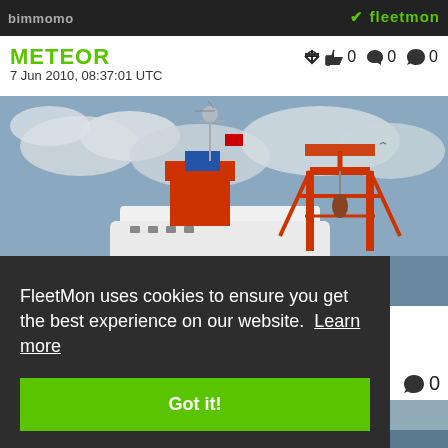bimmomo / fleetmon
METEOR
0 likes  0 hearts  0 comments
7 Jun 2010, 08:37:01 UTC
[Figure (photo): Research vessel Meteor with red crane/derrick structure against cloudy sky]
FleetMon uses cookies to ensure you get the best experience on our website. Learn more
Got it!
0 comments
[Figure (photo): Partial view of another vessel at bottom of page]